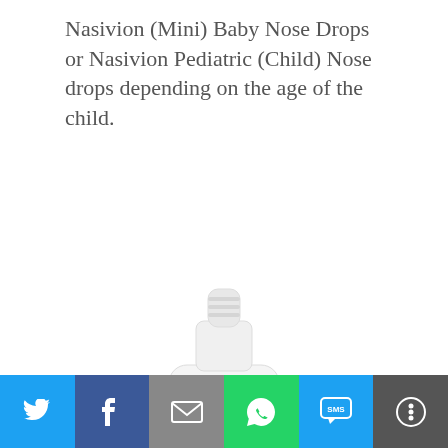Nasivion (Mini) Baby Nose Drops or Nasivion Pediatric (Child) Nose drops depending on the age of the child.
[Figure (photo): White bottle of Nasivion S Saline Nasal Solution / Nasal Spray / Drops, 10 ml, by Merck, with a pink label band and a graphic of a nose.]